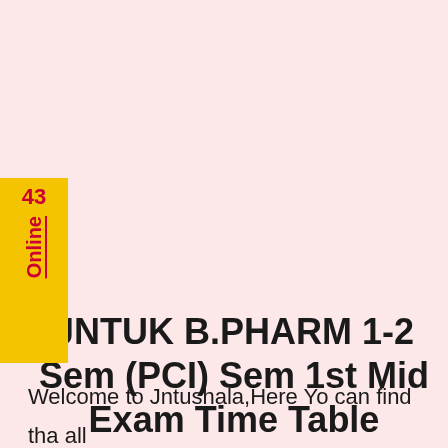43 Online
JNTUK B.PHARM 1-2 Sem (PCI) Sem 1st Mid Exam Time Table Aug/Sept 2021
Welcome to Jntushala,Here Yo can find tha all Latest Results of all years of BTECH, MTECH